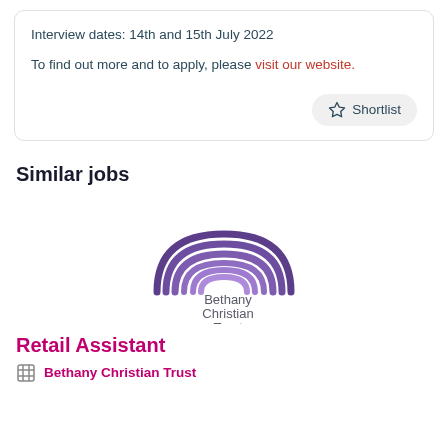Interview dates: 14th and 15th July 2022
To find out more and to apply, please visit our website.
Similar jobs
[Figure (logo): Bethany Christian Trust rainbow logo with text 'Bethany Christian Trust']
Retail Assistant
Bethany Christian Trust